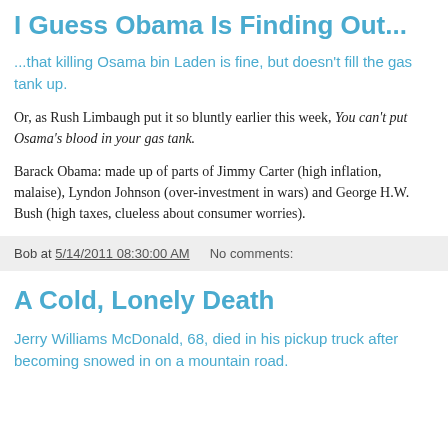I Guess Obama Is Finding Out...
...that killing Osama bin Laden is fine, but doesn't fill the gas tank up.
Or, as Rush Limbaugh put it so bluntly earlier this week, You can't put Osama's blood in your gas tank.
Barack Obama: made up of parts of Jimmy Carter (high inflation, malaise), Lyndon Johnson (over-investment in wars) and George H.W. Bush (high taxes, clueless about consumer worries).
Bob at 5/14/2011 08:30:00 AM   No comments:
A Cold, Lonely Death
Jerry Williams McDonald, 68, died in his pickup truck after becoming snowed in on a mountain road.